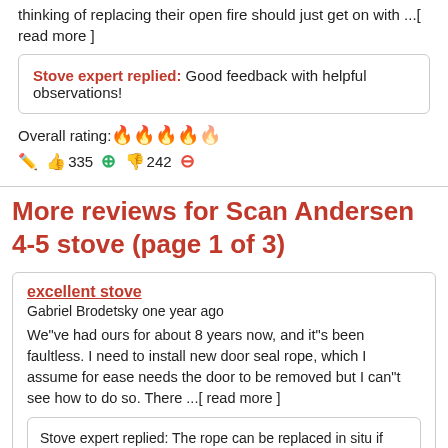thinking of replacing their open fire should just get on with ...[ read more ]
Stove expert replied: Good feedback with helpful observations!
Overall rating: 🔥🔥🔥🔥🔥
✏️ 👍335 ➕ 👎242 ⊖
More reviews for Scan Andersen 4-5 stove (page 1 of 3)
excellent stove
Gabriel Brodetsky one year ago
We"ve had ours for about 8 years now, and it"s been faultless. I need to install new door seal rope, which I assume for ease needs the door to be removed but I can"t see how to do so. There ...[ read more ]
Stove expert replied: The rope can be replaced in situ if you are unable to remove the door, just ensure that you